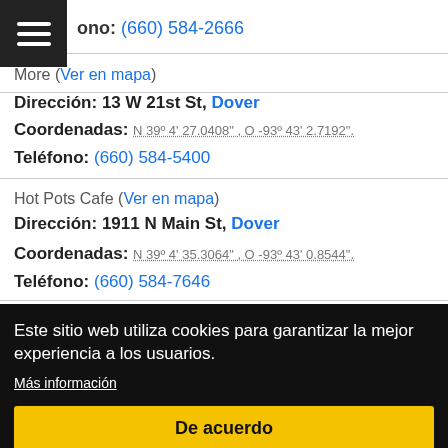Teléfono: (660) 584-2666
More (Ver en mapa)
Dirección: 13 W 21st St, Dover
Coordenadas: N 39° 4' 27.0408", O -93° 43' 2.7192".
Teléfono: (660) 584-5400
Hot Pots Cafe (Ver en mapa)
Dirección: 1911 N Main St, Dover
Coordenadas: N 39° 4' 35.3064", O -93° 43' 0.8544".
Teléfono: (660) 584-7646
Este sitio web utiliza cookies para garantizar la mejor experiencia a los usuarios.
Más información
De acuerdo